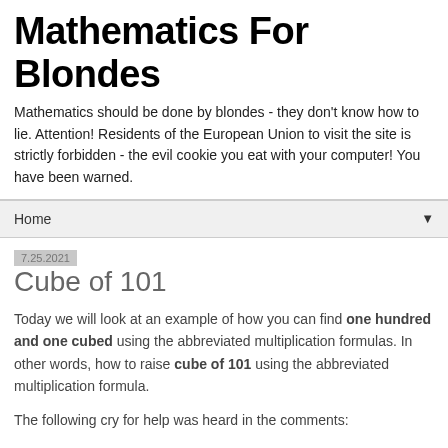Mathematics For Blondes
Mathematics should be done by blondes - they don't know how to lie. Attention! Residents of the European Union to visit the site is strictly forbidden - the evil cookie you eat with your computer! You have been warned.
Home ▼
7.25.2021
Cube of 101
Today we will look at an example of how you can find one hundred and one cubed using the abbreviated multiplication formulas. In other words, how to raise cube of 101 using the abbreviated multiplication formula.
The following cry for help was heard in the comments: